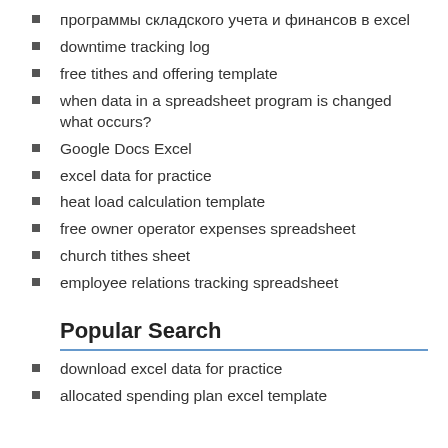программы складского учета и финансов в excel
downtime tracking log
free tithes and offering template
when data in a spreadsheet program is changed what occurs?
Google Docs Excel
excel data for practice
heat load calculation template
free owner operator expenses spreadsheet
church tithes sheet
employee relations tracking spreadsheet
Popular Search
download excel data for practice
allocated spending plan excel template